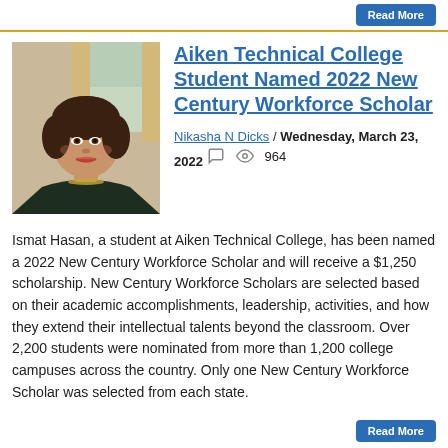Read More
[Figure (photo): Headshot photo of Ismat Hasan, a woman with dark hair wearing a dark lace top and gold necklace, indoor background]
Aiken Technical College Student Named 2022 New Century Workforce Scholar
Nikasha N Dicks / Wednesday, March 23, 2022   964
Ismat Hasan, a student at Aiken Technical College, has been named a 2022 New Century Workforce Scholar and will receive a $1,250 scholarship. New Century Workforce Scholars are selected based on their academic accomplishments, leadership, activities, and how they extend their intellectual talents beyond the classroom. Over 2,200 students were nominated from more than 1,200 college campuses across the country. Only one New Century Workforce Scholar was selected from each state.